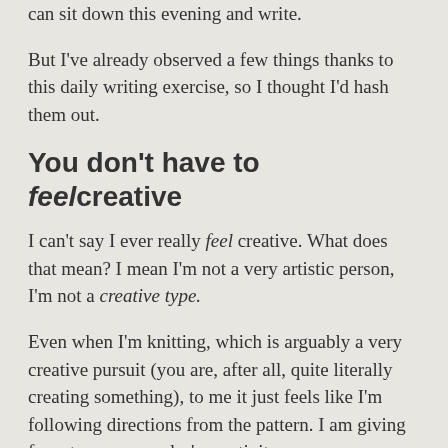can sit down this evening and write.
But I've already observed a few things thanks to this daily writing exercise, so I thought I'd hash them out.
You don't have to feel creative
I can't say I ever really feel creative. What does that mean? I mean I'm not a very artistic person, I'm not a creative type.
Even when I'm knitting, which is arguably a very creative pursuit (you are, after all, quite literally creating something), to me it just feels like I'm following directions from the pattern. I am giving form to someone else's creativity.
And yet, I have been able to sit down and write on a daily basis. I still don't feel like I'm being particularly